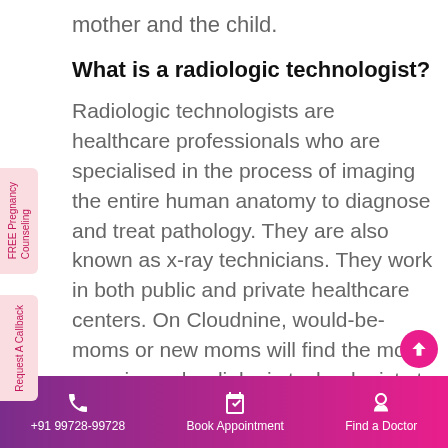mother and the child.
What is a radiologic technologist?
Radiologic technologists are healthcare professionals who are specialised in the process of imaging the entire human anatomy to diagnose and treat pathology. They are also known as x-ray technicians. They work in both public and private healthcare centers. On Cloudnine, would-be-moms or new moms will find the most experienced radiologic technologists to provide them with the safest radiological services and Mothercare experience in the city of Chandigarh.
+91 99728-99728  Book Appointment  Find a Doctor